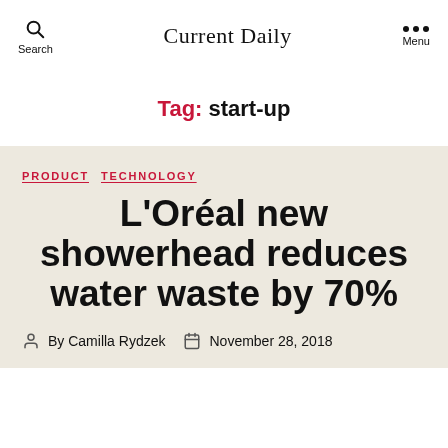Current Daily
Tag: start-up
PRODUCT  TECHNOLOGY
L'Oréal new showerhead reduces water waste by 70%
By Camilla Rydzek  November 28, 2018